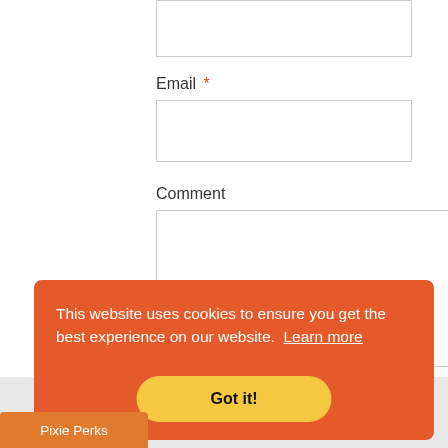[Figure (screenshot): Partial web form showing a top input field (cropped), an Email field with red asterisk and text input box, and a Comment label with large textarea below.]
Email *
Comment
This website uses cookies to ensure you get the best experience on our website. Learn more
Got it!
Pixie Perks